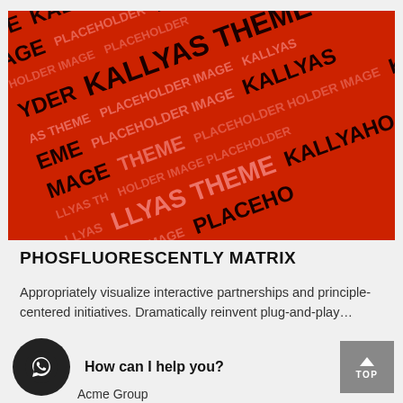[Figure (illustration): Red placeholder image with repeating 'KALLYAS THEME PLACEHOLDER IMAGE' text in dark and light colors arranged diagonally]
PHOSFLUORESCENTLY MATRIX
Appropriately visualize interactive partnerships and principle-centered initiatives. Dramatically reinvent plug-and-play...
How can I help you?
Acme Group